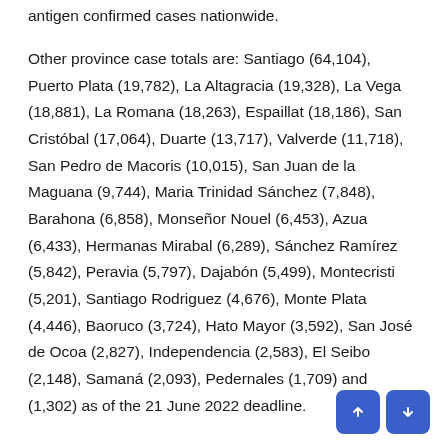antigen confirmed cases nationwide.
Other province case totals are: Santiago (64,104), Puerto Plata (19,782), La Altagracia (19,328), La Vega (18,881), La Romana (18,263), Espaillat (18,186), San Cristóbal (17,064), Duarte (13,717), Valverde (11,718), San Pedro de Macoris (10,015), San Juan de la Maguana (9,744), Maria Trinidad Sánchez (7,848), Barahona (6,858), Monseñor Nouel (6,453), Azua (6,433), Hermanas Mirabal (6,289), Sánchez Ramírez (5,842), Peravia (5,797), Dajabón (5,499), Montecristi (5,201), Santiago Rodriguez (4,676), Monte Plata (4,446), Baoruco (3,724), Hato Mayor (3,592), San José de Ocoa (2,827), Independencia (2,583), El Seibo (2,148), Samaná (2,093), Pedernales (1,709) and [Elías Piña] (1,302) as of the 21 June 2022 deadline.